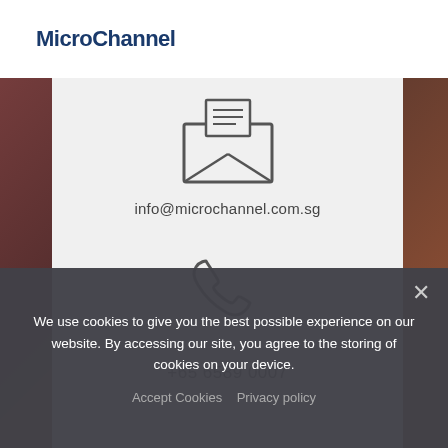MicroChannel
[Figure (illustration): Email envelope icon with document lines, outlined style in dark grey]
info@microchannel.com.sg
[Figure (illustration): Phone handset icon, outlined style in dark grey]
+65 6589 0007
We use cookies to give you the best possible experience on our website. By accessing our site, you agree to the storing of cookies on your device.
Accept Cookies   Privacy policy